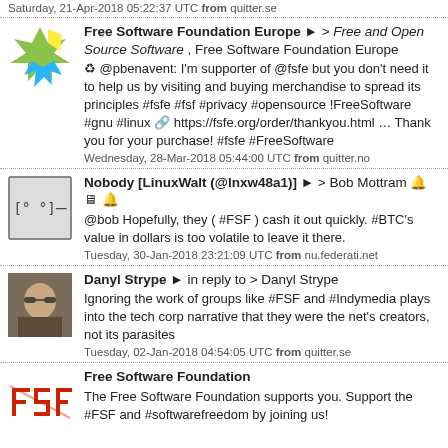Saturday, 21-Apr-2018 05:22:37 UTC from quitter.se
Free Software Foundation Europe ▶ > Free and Open Source Software , Free Software Foundation Europe ♻ @pbenavent: I'm supporter of @fsfe but you don't need it to help us by visiting and buying merchandise to spread its principles #fsfe #fsf #privacy #opensource !FreeSoftware #gnu #linux 🔗 https://fsfe.org/order/thankyou.html … Thank you for your purchase! #fsfe #FreeSoftware
Wednesday, 28-Mar-2018 05:44:00 UTC from quitter.no
Nobody [LinuxWalt (@lnxw48a1)] ▶ > Bob Mottram 🔔 🖥 🔔 @bob Hopefully, they ( #FSF ) cash it out quickly. #BTC's value in dollars is too volatile to leave it there.
Tuesday, 30-Jan-2018 23:21:09 UTC from nu.federati.net
Danyl Strype ▶ in reply to > Danyl Strype Ignoring the work of groups like #FSF and #Indymedia plays into the tech corp narrative that they were the net's creators, not its parasites
Tuesday, 02-Jan-2018 04:54:05 UTC from quitter.se
Free Software Foundation The Free Software Foundation supports you. Support the #FSF and #softwarefreedom by joining us!